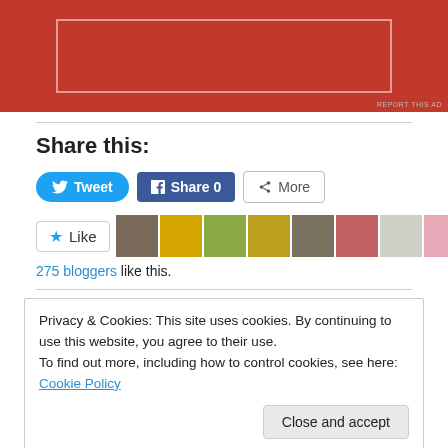[Figure (other): Red advertisement banner with inner white-bordered rectangle]
REPORT THIS AD
Share this:
[Figure (other): Social share buttons: Tweet, Share 0, More]
[Figure (other): Like button and 275 bloggers avatar row]
275 bloggers like this.
Privacy & Cookies: This site uses cookies. By continuing to use this website, you agree to their use.
To find out more, including how to control cookies, see here: Cookie Policy
Close and accept
comment data is processed.